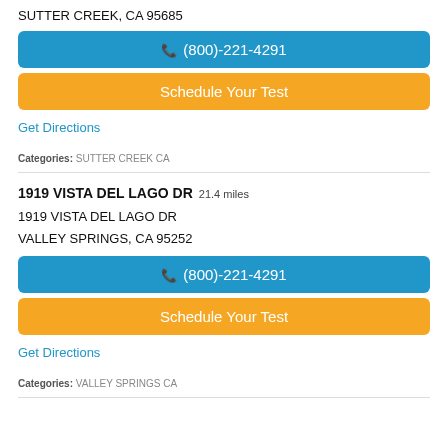SUTTER CREEK, CA 95685
(800)-221-4291
Schedule Your Test
Get Directions
Categories: SUTTER CREEK CA
1919 VISTA DEL LAGO DR  21.4 miles
1919 VISTA DEL LAGO DR
VALLEY SPRINGS, CA 95252
(800)-221-4291
Schedule Your Test
Get Directions
Categories: VALLEY SPRINGS CA